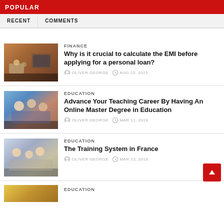POPULAR
RECENT
COMMENTS
[Figure (photo): Hands working with coins and laptop on desk]
FINANCE
Why is it crucial to calculate the EMI before applying for a personal loan?
OLIVER GEORGE  AUG 23, 2022
[Figure (photo): Students studying together around a table]
EDUCATION
Advance Your Teaching Career By Having An Online Master Degree in Education
OLIVER GEORGE  MAR 11, 2018
[Figure (photo): Business professionals in a meeting room]
EDUCATION
The Training System in France
OLIVER GEORGE  MAR 13, 2018
[Figure (photo): Partial view of another article image]
EDUCATION